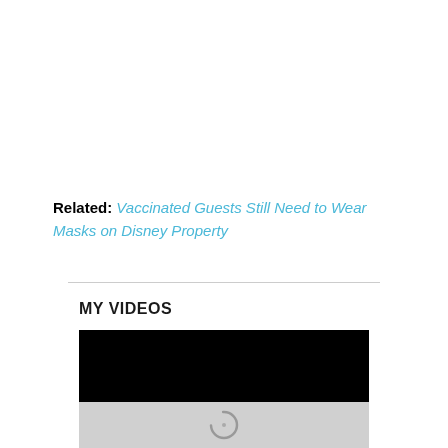Related: Vaccinated Guests Still Need to Wear Masks on Disney Property
MY VIDEOS
[Figure (screenshot): Video player with black screen on top and grey loading controls area below, showing a circular spinner/loading indicator]